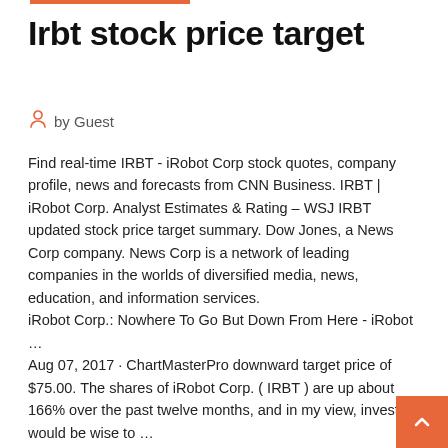Irbt stock price target
by Guest
Find real-time IRBT - iRobot Corp stock quotes, company profile, news and forecasts from CNN Business. IRBT | iRobot Corp. Analyst Estimates & Rating – WSJ IRBT updated stock price target summary. Dow Jones, a News Corp company. News Corp is a network of leading companies in the worlds of diversified media, news, education, and information services. iRobot Corp.: Nowhere To Go But Down From Here - iRobot … Aug 07, 2017 · ChartMasterPro downward target price of $75.00. The shares of iRobot Corp. ( IRBT ) are up about 166% over the past twelve months, and in my view, investors would be wise to … This Is (Another) Opportunity To Buy iRobot Corporation … Mar 04, 2020 · At the time the stock opened at the value of $47.24, making it a high for the given period, the value of the stock jumped by 3.80%. After the increase, IRBT touched a price of $46.63, calling it a day with a closing price of $47.35,